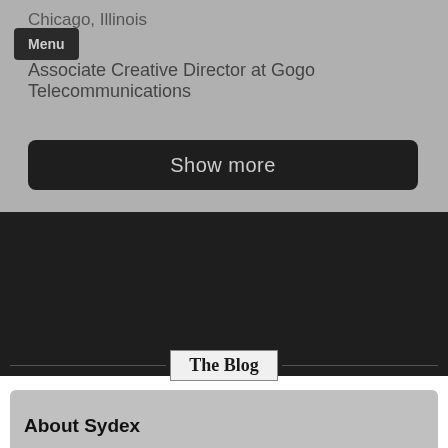Chicago, Illinois
Associate Creative Director at Gogo Telecommunications
Menu
Show more
The Blog
About Sydex